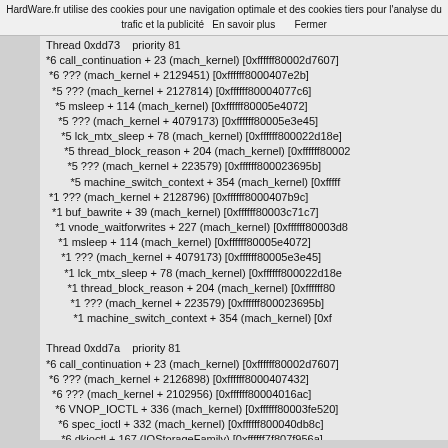HardWare.fr utilise des cookies pour une navigation optimale et des cookies tiers pour l'analyse du trafic et la publicité  En savoir plus      Fermer
*6 call_continuation + 23 (mach_kernel) [0xffffff80002d7607]
 *6 ??? (mach_kernel + 2129451) [0xffffff8000407e2b]
  *5 ??? (mach_kernel + 2127814) [0xffffff80004077c6]
   *5 msleep + 114 (mach_kernel) [0xffffff80005e4072]
    *5 ??? (mach_kernel + 4079173) [0xffffff80005e3e45]
     *5 lck_mtx_sleep + 78 (mach_kernel) [0xffffff800022d18e]
      *5 thread_block_reason + 204 (mach_kernel) [0xffffff80002...
       *5 ??? (mach_kernel + 223579) [0xffffff800023695b]
        *5 machine_switch_context + 354 (mach_kernel) [0xfffff...
 *1 ??? (mach_kernel + 2128796) [0xffffff8000407b9c]
  *1 buf_bawrite + 39 (mach_kernel) [0xffffff80003c71c7]
   *1 vnode_waitforwrites + 227 (mach_kernel) [0xffffff80003d8...
    *1 msleep + 114 (mach_kernel) [0xffffff80005e4072]
     *1 ??? (mach_kernel + 4079173) [0xffffff80005e3e45]
      *1 lck_mtx_sleep + 78 (mach_kernel) [0xffffff800022d18e...
       *1 thread_block_reason + 204 (mach_kernel) [0xffffff80...
        *1 ??? (mach_kernel + 223579) [0xffffff800023695b]
         *1 machine_switch_context + 354 (mach_kernel) [0xf...

Thread 0xdd7a    priority 81
*6 call_continuation + 23 (mach_kernel) [0xffffff80002d7607]
 *6 ??? (mach_kernel + 2126898) [0xffffff8000407432]
  *6 ??? (mach_kernel + 2102956) [0xffffff80004016ac]
   *6 VNOP_IOCTL + 336 (mach_kernel) [0xffffff80003fe520]
    *6 spec_ioctl + 332 (mach_kernel) [0xffffff800040db8c]
     *6 dkioctl + 167 (IOStorageFamily) [0xffffff7f807f956a]
      *6 IOAHCIBlockStorageDriver::FlushCache() + 123 (IOAH...
       *6 IOAHCIDiskQueueManager::SendRequest(__SATAIC...